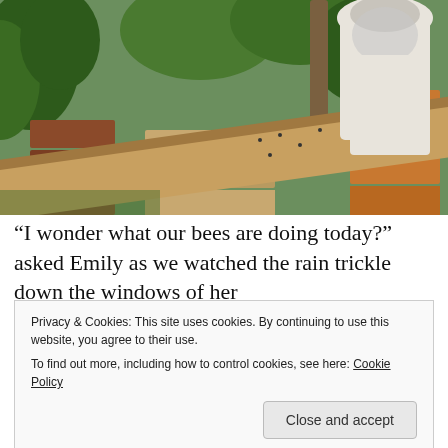[Figure (photo): A beekeeper in white protective suit and hat standing among wooden beehive boxes in a lush green garden setting]
“I wonder what our bees are doing today?” asked Emily as we watched the rain trickle down the windows of her
Privacy & Cookies: This site uses cookies. By continuing to use this website, you agree to their use.
To find out more, including how to control cookies, see here: Cookie Policy
beekeeping.